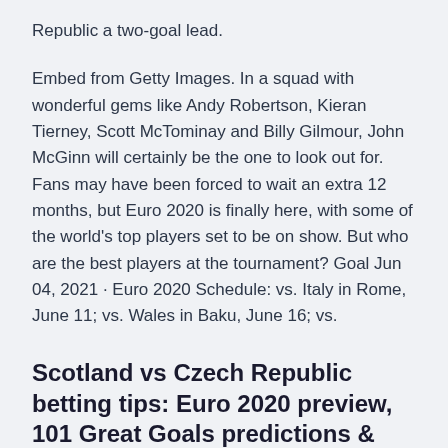Republic a two-goal lead.
Embed from Getty Images. In a squad with wonderful gems like Andy Robertson, Kieran Tierney, Scott McTominay and Billy Gilmour, John McGinn will certainly be the one to look out for. Fans may have been forced to wait an extra 12 months, but Euro 2020 is finally here, with some of the world's top players set to be on show. But who are the best players at the tournament? Goal Jun 04, 2021 · Euro 2020 Schedule: vs. Italy in Rome, June 11; vs. Wales in Baku, June 16; vs.
Scotland vs Czech Republic betting tips: Euro 2020 preview, 101 Great Goals predictions & betting odds Matchday what for